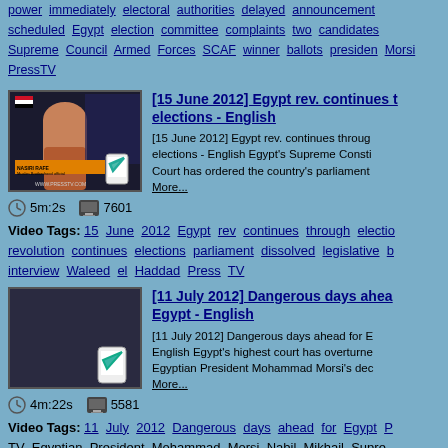power immediately electoral authorities delayed announcement scheduled Egypt election committee complaints two candidates Supreme Council Armed Forces SCAF winner ballots president Morsi PressTV
[Figure (screenshot): Video thumbnail showing a news anchor woman in hijab on a dark background, with a phone/app icon overlay showing a green checkmark]
[15 June 2012] Egypt rev. continues through elections - English
[15 June 2012] Egypt rev. continues through elections - English Egypt's Supreme Constitutional Court has ordered the country's parliament... More...
5m:2s   7601
Video Tags: 15 June 2012 Egypt rev continues through elections revolution continues elections parliament dissolved legislative b interview Waleed el Haddad Press TV
[Figure (screenshot): Video thumbnail showing a plain dark background with a phone/app icon overlay showing a green checkmark]
[11 July 2012] Dangerous days ahead for Egypt - English
[11 July 2012] Dangerous days ahead for Egypt English Egypt's highest court has overturned Egyptian President Mohammad Morsi's dec... More...
4m:22s   5581
Video Tags: 11 July 2012 Dangerous days ahead for Egypt P TV Egyptian President Mohammad Morsi Nabil Mikhil Supreme